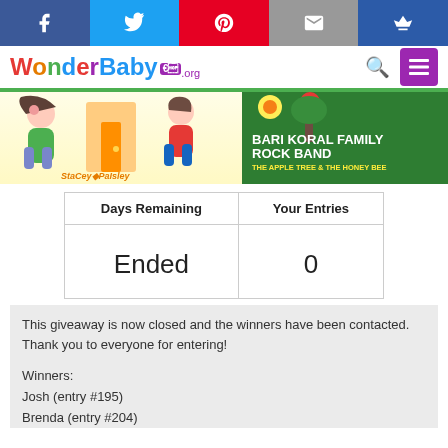Social share bar: Facebook, Twitter, Pinterest, Email, Crown
[Figure (logo): WonderBaby.org logo with colorful letters and purple icon, search icon, purple menu button]
[Figure (illustration): Banner showing two children's book/music illustrations: left side shows cartoon children (Stacy and Paisley style), right side shows Bari Koral Family Rock Band - The Apple Tree & The Honey Bee on green background]
| Days Remaining | Your Entries |
| --- | --- |
| Ended | 0 |
This giveaway is now closed and the winners have been contacted. Thank you to everyone for entering!
Winners:
Josh (entry #195)
Brenda (entry #204)